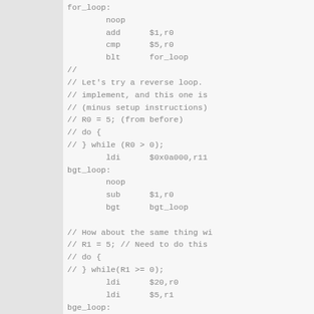for_loop:
        noop
        add      $1,r0
        cmp      $5,r0
        blt      for_loop
//
// Let's try a reverse loop.
// implement, and this one is
// (minus setup instructions)
// R0 = 5; (from before)
// do {
// } while (R0 > 0);
        ldi      $0x0a000,r11
bgt_loop:
        noop
        sub      $1,r0
        bgt      bgt_loop

// How about the same thing wi
// R1 = 5; // Need to do this
// do {
// } while(R1 >= 0);
        ldi      $20,r0
        ldi      $5,r1
bge_loop:
        noop
        sub      $1,r1